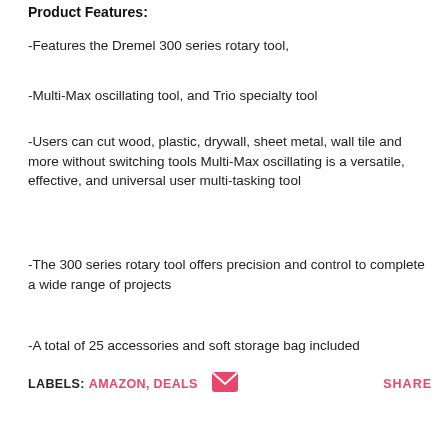Product Features:
-Features the Dremel 300 series rotary tool,
-Multi-Max oscillating tool, and Trio specialty tool
-Users can cut wood, plastic, drywall, sheet metal, wall tile and more without switching tools Multi-Max oscillating is a versatile, effective, and universal user multi-tasking tool
-The 300 series rotary tool offers precision and control to complete a wide range of projects
-A total of 25 accessories and soft storage bag included
LABELS: AMAZON, DEALS   SHARE